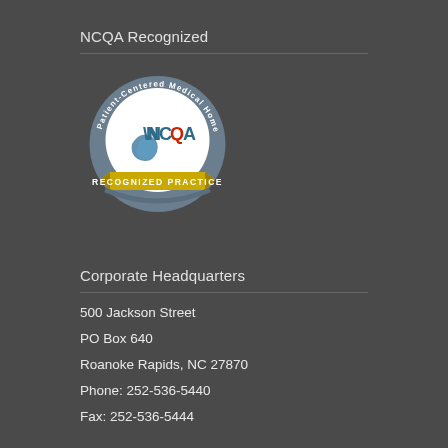NCQA Recognized
[Figure (logo): NCQA Patient-Centered Medical Home Recognized Practice badge/seal — circular badge with blue/slate outer ring with white text reading 'Patient-Centered Medical Home', white inner circle with NCQA logo (teal swoosh and 'NCQA' text with red 'Q'), and a gold/yellow ribbon banner at the bottom reading 'RECOGNIZED PRACTICE']
Corporate Headquarters
500 Jackson Street
PO Box 640
Roanoke Rapids, NC 27870
Phone: 252-536-5440
Fax: 252-536-5444